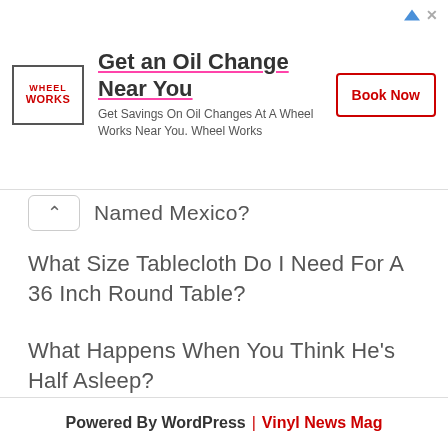[Figure (other): Advertisement banner: Wheel Works logo on left, headline 'Get an Oil Change Near You', subtitle 'Get Savings On Oil Changes At A Wheel Works Near You. Wheel Works', and a red 'Book Now' button on the right.]
Named Mexico?
What Size Tablecloth Do I Need For A 36 Inch Round Table?
What Happens When You Think He's Half Asleep?
Powered By WordPress | Vinyl News Mag